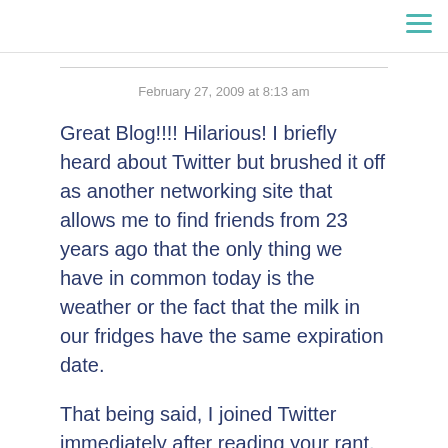February 27, 2009 at 8:13 am
Great Blog!!!! Hilarious! I briefly heard about Twitter but brushed it off as another networking site that allows me to find friends from 23 years ago that the only thing we have in common today is the weather or the fact that the milk in our fridges have the same expiration date.
That being said, I joined Twitter immediately after reading your rant. Thanks for that. Now i have to sit here and get a grasp all the language created by Twitter so i could make it work for me.